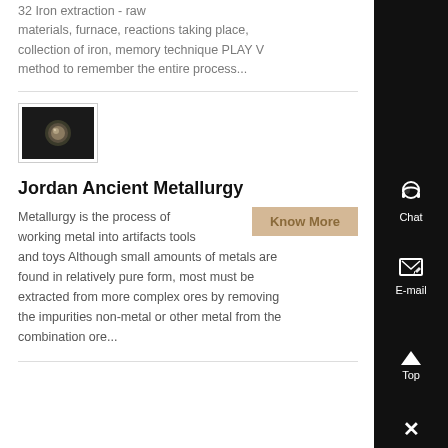32 Iron extraction - raw materials, furnace, reactions taking place, collection of iron, memory technique PLAY V method to remember the entire process...
[Figure (photo): Small thumbnail photo of a metal artifact (possibly a rivet or button) against a dark background]
Jordan Ancient Metallurgy
Metallurgy is the process of working metal into artifacts tools and toys Although small amounts of metals are found in relatively pure form, most must be extracted from more complex ores by removing the impurities non-metal or other metal from the combination ore...